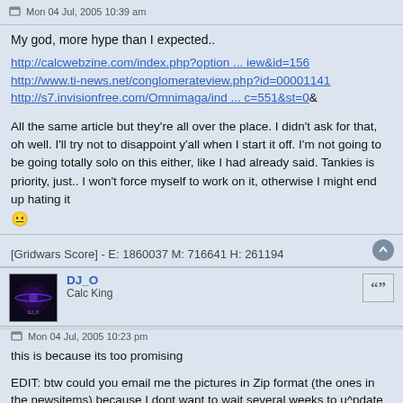Mon 04 Jul, 2005 10:39 am
My god, more hype than I expected..
http://calcwebzine.com/index.php?option ... iew&id=156
http://www.ti-news.net/conglomerateview.php?id=00001141
http://s7.invisionfree.com/Omnimaga/ind ... c=551&st=0&
All the same article but they're all over the place. I didn't ask for that, oh well. I'll try not to disappoint y'all when I start it off. I'm not going to be going totally solo on this either, like I had already said. Tankies is priority, just.. I won't force myself to work on it, otherwise I might end up hating it :D
[Gridwars Score] - E: 1860037 M: 716641 H: 261194
DJ_O
Calc King
Mon 04 Jul, 2005 10:23 pm
this is because its too promising
EDIT: btw could you email me the pictures in Zip format (the ones in the newsitems) because I dont want to wait several weeks to u^pdate the broken pictures links on my website (I know your server will be down for a